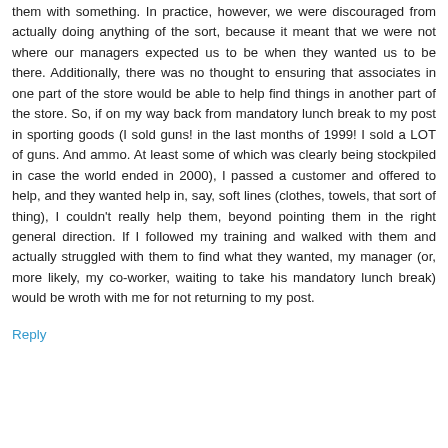them with something. In practice, however, we were discouraged from actually doing anything of the sort, because it meant that we were not where our managers expected us to be when they wanted us to be there. Additionally, there was no thought to ensuring that associates in one part of the store would be able to help find things in another part of the store. So, if on my way back from mandatory lunch break to my post in sporting goods (I sold guns! in the last months of 1999! I sold a LOT of guns. And ammo. At least some of which was clearly being stockpiled in case the world ended in 2000), I passed a customer and offered to help, and they wanted help in, say, soft lines (clothes, towels, that sort of thing), I couldn't really help them, beyond pointing them in the right general direction. If I followed my training and walked with them and actually struggled with them to find what they wanted, my manager (or, more likely, my co-worker, waiting to take his mandatory lunch break) would be wroth with me for not returning to my post.
Reply